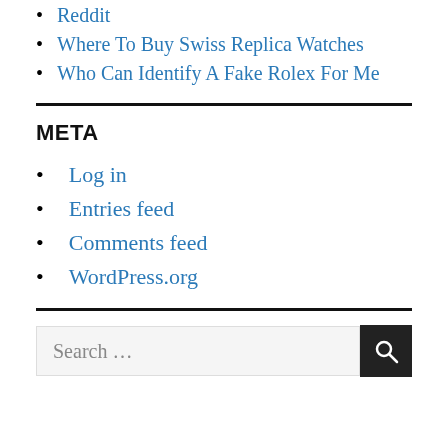Reddit
Where To Buy Swiss Replica Watches
Who Can Identify A Fake Rolex For Me
META
Log in
Entries feed
Comments feed
WordPress.org
Search …